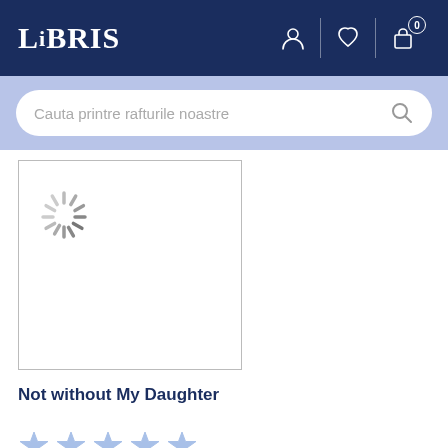LIBRIS
Cauta printre rafturile noastre
[Figure (screenshot): Book cover placeholder with loading spinner]
Not without My Daughter
[Figure (other): 5 light blue star rating icons]
54.26 Lei